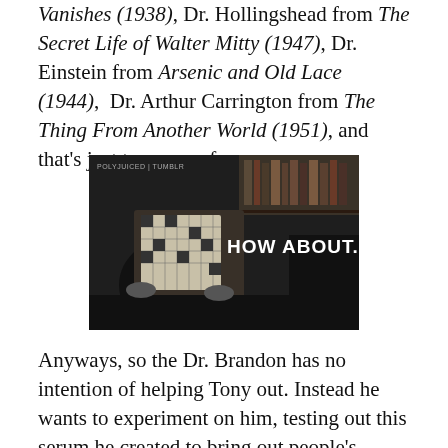Vanishes (1938), Dr. Hollingshead from The Secret Life of Walter Mitty (1947), Dr. Einstein from Arsenic and Old Lace (1944), Dr. Arthur Carrington from The Thing From Another World (1951), and that's just to name a few.
[Figure (screenshot): Black and white screenshot from a film showing a person holding up a document/puzzle. White bold text overlay reads 'HOW ABOUT...' Small text in upper left reads 'POLYJUICED | TUMBLR'.]
Anyways, so the Dr. Brandon has no intention of helping Tony out. Instead he wants to experiment on him, testing out this serum he created to bring out people's primitive instincts. His assistant tries to convince him not to, but Dr. Brandon won't listen.